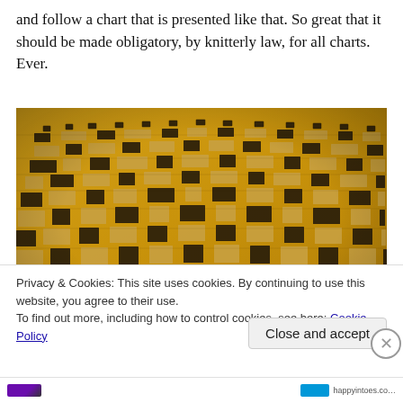and follow a chart that is presented like that. So great that it should be made obligatory, by knitterly law, for all charts. Ever.
[Figure (photo): Close-up photograph of a knitted or tiled textile/pattern with a checkerboard-like design in yellow/cream and dark brown/grey square tiles arranged in a geometric mosaic pattern on a flat surface with warm yellow-orange background light.]
Privacy & Cookies: This site uses cookies. By continuing to use this website, you agree to their use.
To find out more, including how to control cookies, see here: Cookie Policy
Close and accept